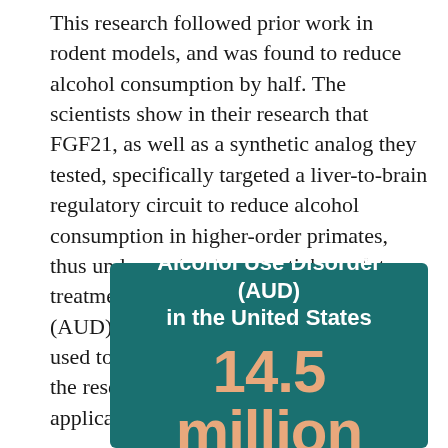This research followed prior work in rodent models, and was found to reduce alcohol consumption by half. The scientists show in their research that FGF21, as well as a synthetic analog they tested, specifically targeted a liver-to-brain regulatory circuit to reduce alcohol consumption in higher-order primates, thus underscoring its potential as a future treatment option for alcohol use disorder (AUD) in humans. The drug could also be used to treat diseases like cirrhosis, though the researchers noted that for both applications future research is needed.
[Figure (infographic): Infographic with teal/dark green background showing 'Alcohol Use Disorder (AUD) in the United States' title in white bold text, and '14.5 million' in large peach/orange bold text below.]